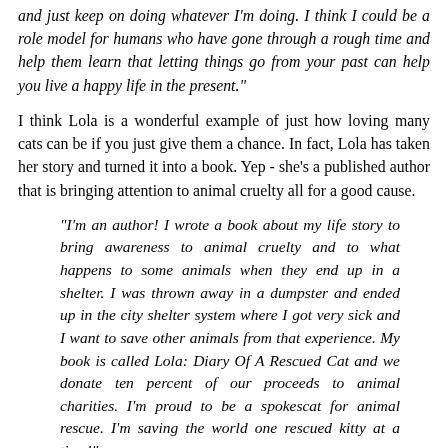and just keep on doing whatever I'm doing.  I think I could be a role model for humans who have gone through a rough time and help them learn that letting things go from your past can help you live a happy life in the present."
I think Lola is a wonderful example of just how loving many cats can be if you just give them a chance.  In fact, Lola has taken her story and turned it into a book. Yep - she's a published author that is bringing attention to animal cruelty all for a good cause.
"I'm an author! I wrote a book about my life story to bring awareness to animal cruelty and to what happens to some animals when they end up in a shelter.  I was thrown away in a dumpster and ended up in the city shelter system where I got very sick and I want to save other animals from that experience.  My book is called Lola: Diary Of A Rescued Cat and we donate ten percent of our proceeds to animal charities.  I'm proud to be a spokescat for animal rescue. I'm saving the world one rescued kitty at a time!"